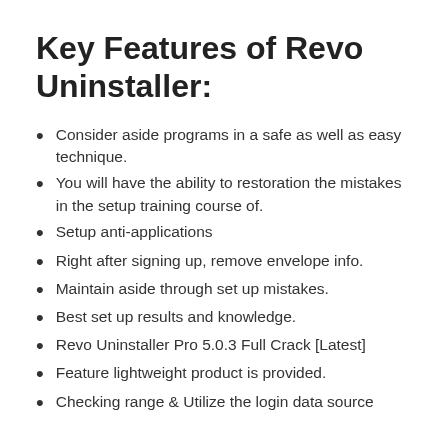Key Features of Revo Uninstaller:
Consider aside programs in a safe as well as easy technique.
You will have the ability to restoration the mistakes in the setup training course of.
Setup anti-applications
Right after signing up, remove envelope info.
Maintain aside through set up mistakes.
Best set up results and knowledge.
Revo Uninstaller Pro 5.0.3 Full Crack [Latest]
Feature lightweight product is provided.
Checking range & Utilize the login data source